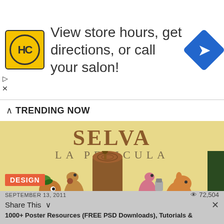[Figure (screenshot): Advertisement banner with HC logo (yellow circle with HC text), text 'View store hours, get directions, or call your salon!' and a blue navigation/directions diamond icon on the right. Play and close controls on the left edge.]
TRENDING NOW
[Figure (photo): Illustration/movie poster showing animated animals (bird, kangaroo, flamingo, and others) around a tree stump. Text at top reads 'SELVA LA PELICULA'. A 'DESIGN' badge is overlaid on the bottom-left corner.]
SEPTEMBER 13, 2011
72,504
Share This
1000+ Poster Resources (FREE PSD Downloads), Tutorials &